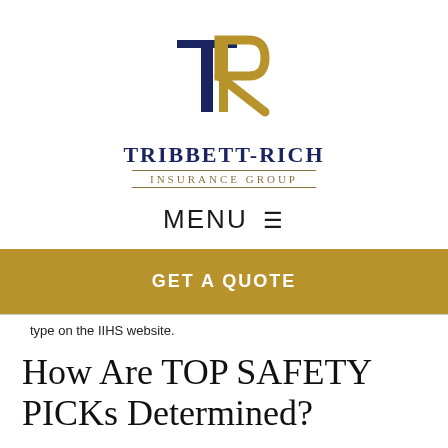[Figure (logo): Tribbett-Rich Insurance Group logo: overlapping letters T and R in navy blue and gold, with company name below]
MENU ☰
GET A QUOTE
type on the IIHS website.
How Are TOP SAFETY PICKs Determined?